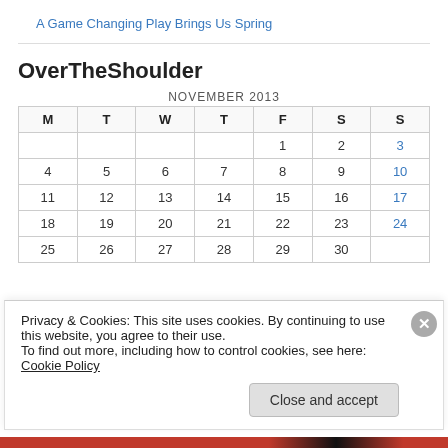A Game Changing Play Brings Us Spring
OverTheShoulder
| M | T | W | T | F | S | S |
| --- | --- | --- | --- | --- | --- | --- |
|  |  |  |  | 1 | 2 | 3 |
| 4 | 5 | 6 | 7 | 8 | 9 | 10 |
| 11 | 12 | 13 | 14 | 15 | 16 | 17 |
| 18 | 19 | 20 | 21 | 22 | 23 | 24 |
| 25 | 26 | 27 | 28 | 29 | 30 |  |
Privacy & Cookies: This site uses cookies. By continuing to use this website, you agree to their use.
To find out more, including how to control cookies, see here: Cookie Policy